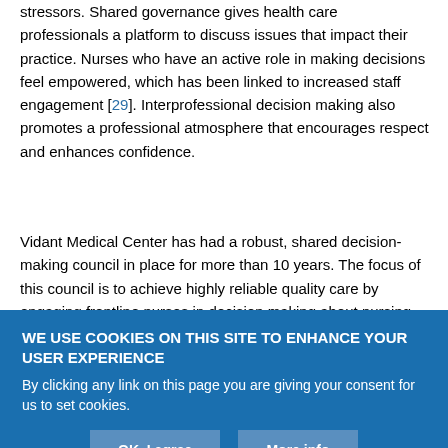stressors. Shared governance gives health care professionals a platform to discuss issues that impact their practice. Nurses who have an active role in making decisions feel empowered, which has been linked to increased staff engagement [29]. Interprofessional decision making also promotes a professional atmosphere that encourages respect and enhances confidence.
Vidant Medical Center has had a robust, shared decision-making council in place for more than 10 years. The focus of this council is to achieve highly reliable quality care by engaging frontline nurses in decision making about nursing professional practice, professional
WE USE COOKIES ON THIS SITE TO ENHANCE YOUR USER EXPERIENCE
By clicking any link on this page you are giving your consent for us to set cookies.